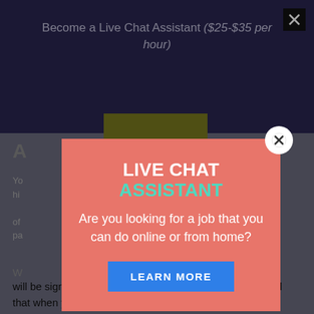Become a Live Chat Assistant ($25-$35 per hour)
A
Yo hi of pa
W will be significantly higher. You must likewise keep in mind that when you work for an online job you have more alternatives readily available to you.
[Figure (screenshot): A modal/popup overlay on a webpage. The modal has a salmon/coral background (#e8756a). It contains the heading 'LIVE CHAT ASSISTANT' (white bold for 'LIVE CHAT', teal for 'ASSISTANT'), a subheading 'Are you looking for a job that you can do online or from home?', and a blue 'LEARN MORE' button. There is a white circle X close button at the top-right of the modal. Behind the modal is a dark navy header with text 'Become a Live Chat Assistant ($25-$35 per hour)' and a dark X button, plus body content text.]